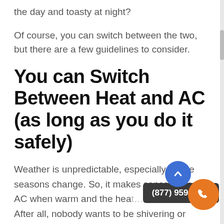the day and toasty at night?
Of course, you can switch between the two, but there are a few guidelines to consider.
You can Switch Between Heat and AC (as long as you do it safely)
Weather is unpredictable, especially as the seasons change. So, it makes sense to use AC when warm and the hea… After all, nobody wants to be shivering or